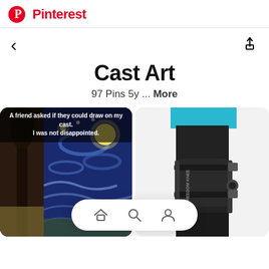Pinterest
Cast Art
97 Pins 5y ... More
[Figure (photo): Two photos of a medical cast decorated with Van Gogh's Starry Night painting, with caption 'A friend asked if they could draw on my cast. I was not disappointed.']
[Figure (photo): Photo of a person wearing a black knee brace/orthotic device, wearing a cyan/turquoise top and black compression pants, on a white background.]